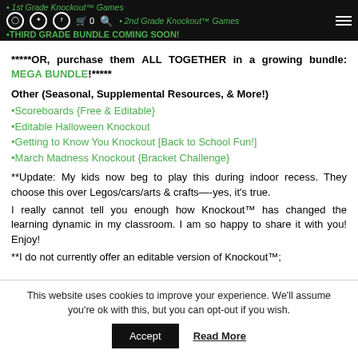1st Grade Knockout™ Games • 2nd Grade Knockout™ Games • THIRD GRADE BUNDLE COMING SOON!
*****OR, purchase them ALL TOGETHER in a growing bundle: MEGA BUNDLE!*****
Other (Seasonal, Supplemental Resources, & More!)
Scoreboards {Free & Editable}
Editable Halloween Knockout
Getting to Know You Knockout [Back to School Fun!]
March Madness Knockout {Bracket Challenge}
**Update: My kids now beg to play this during indoor recess. They choose this over Legos/cars/arts & crafts—-yes, it's true.
I really cannot tell you enough how Knockout™ has changed the learning dynamic in my classroom. I am so happy to share it with you! Enjoy!
**I do not currently offer an editable version of Knockout™;
This website uses cookies to improve your experience. We'll assume you're ok with this, but you can opt-out if you wish.